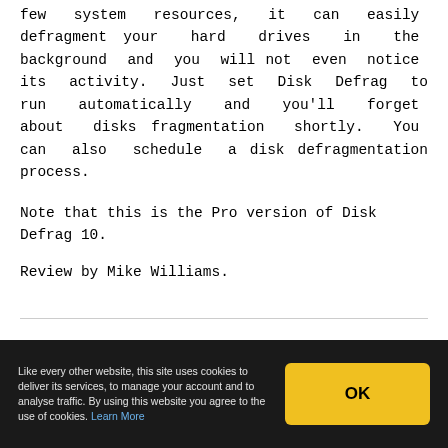few system resources, it can easily defragment your hard drives in the background and you will not even notice its activity. Just set Disk Defrag to run automatically and you’ll forget about disks fragmentation shortly. You can also schedule a disk defragmentation process.
Note that this is the Pro version of Disk Defrag 10.
Review by Mike Williams.
Like every other website, this site uses cookies to deliver its services, to manage your account and to analyse traffic. By using this website you agree to the use of cookies. Learn More